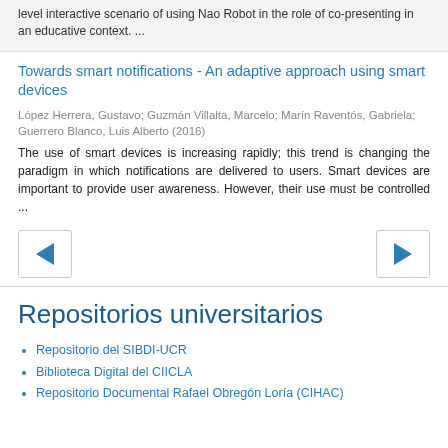level interactive scenario of using Nao Robot in the role of co-presenting in an educative context. ...
Towards smart notifications - An adaptive approach using smart devices
López Herrera, Gustavo; Guzmán Villalta, Marcelo; Marín Raventós, Gabriela; Guerrero Blanco, Luis Alberto (2016)
The use of smart devices is increasing rapidly; this trend is changing the paradigm in which notifications are delivered to users. Smart devices are important to provide user awareness. However, their use must be controlled ...
[Figure (other): Navigation buttons: left arrow and right arrow]
Repositorios universitarios
Repositorio del SIBDI-UCR
Biblioteca Digital del CIICLA
Repositorio Documental Rafael Obregón Loría (CIHAC)